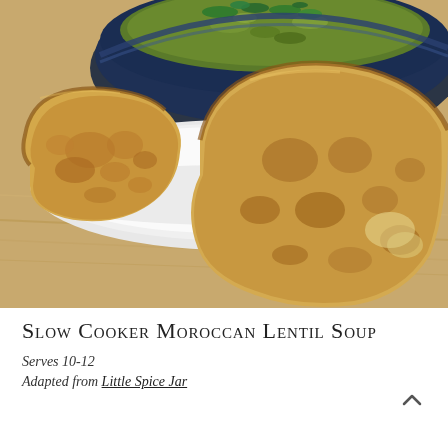[Figure (photo): Close-up photo of two slices of crusty sourdough bread on a white plate, with a dark blue ceramic bowl of green Moroccan lentil soup garnished with fresh herbs visible in the background on a wooden surface.]
Slow Cooker Moroccan Lentil Soup
Serves 10-12
Adapted from Little Spice Jar